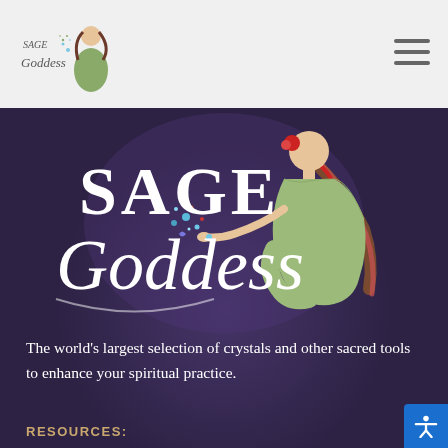[Figure (logo): Sage Goddess logo with illustrated woman in green dress and script/serif text]
[Figure (illustration): Hamburger menu icon (three horizontal lines) in top right of header]
[Figure (illustration): Large Sage Goddess logo illustration on dark purple background: script 'Sage Goddess' text with woman figure in green dress blowing glittery flowers]
The world's largest selection of crystals and other sacred tools to enhance your spiritual practice.
RESOURCES:
About
[Figure (illustration): Blue accessibility icon button in bottom right corner]